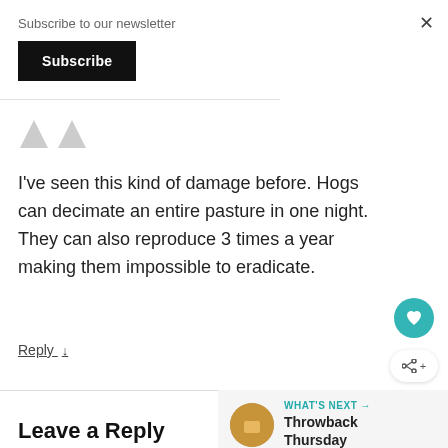Subscribe to our newsletter
Subscribe
I've seen this kind of damage before. Hogs can decimate an entire pasture in one night. They can also reproduce 3 times a year making them impossible to eradicate.
Reply ↓
WHAT'S NEXT → Throwback Thursday
Leave a Reply